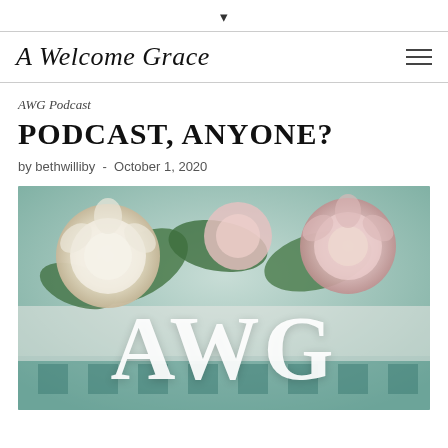▾
A Welcome Grace
AWG Podcast
PODCAST, ANYONE?
by bethwilliby - October 1, 2020
[Figure (photo): AWG branded image: floral arrangement of white and pink peonies with green leaves, overlaid with large white serif letters 'AWG' in the center-bottom area.]